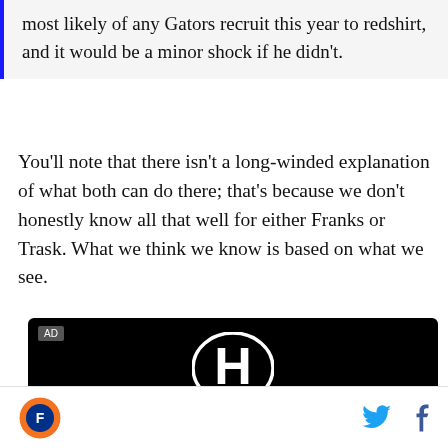most likely of any Gators recruit this year to redshirt, and it would be a minor shock if he didn't.
You'll note that there isn't a long-winded explanation of what both can do there; that's because we don't honestly know all that well for either Franks or Trask. What we think we know is based on what we see.
[Figure (photo): Honda advertisement on black background showing the Honda logo (H emblem), the word HONDA, a line with 'All-New' text in the center, and the text 'HR-V' in large white letters.]
Sports website footer with circular team logo on the left and Twitter and Facebook icons on the right.